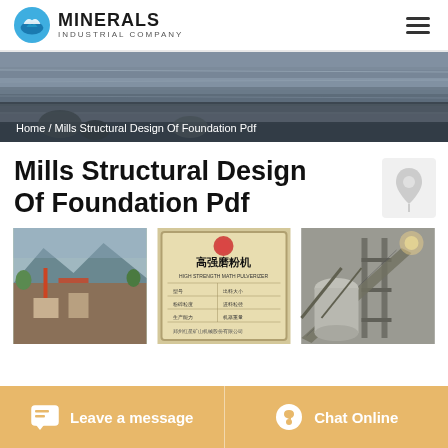MINERALS INDUSTRIAL COMPANY
[Figure (screenshot): Hero banner showing open-pit mine landscape with layered rock formations]
Home / Mills Structural Design Of Foundation Pdf
Mills Structural Design Of Foundation Pdf
[Figure (photo): Three industrial photos: construction site, 高强磨粉机 (high-strength pulverizer) machine label, and industrial processing equipment]
Leave a message | Chat Online